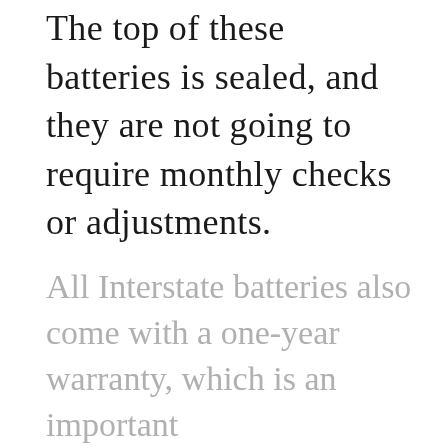The top of these batteries is sealed, and they are not going to require monthly checks or adjustments.
All Interstate batteries also come with a one-year warranty, which is an important